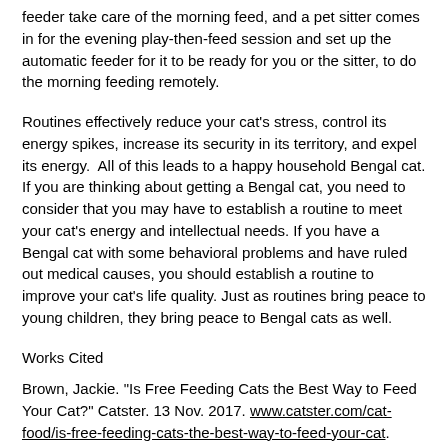feeder take care of the morning feed, and a pet sitter comes in for the evening play-then-feed session and set up the automatic feeder for it to be ready for you or the sitter, to do the morning feeding remotely.
Routines effectively reduce your cat's stress, control its energy spikes, increase its security in its territory, and expel its energy.  All of this leads to a happy household Bengal cat. If you are thinking about getting a Bengal cat, you need to consider that you may have to establish a routine to meet your cat's energy and intellectual needs. If you have a Bengal cat with some behavioral problems and have ruled out medical causes, you should establish a routine to improve your cat's life quality. Just as routines bring peace to young children, they bring peace to Bengal cats as well.
Works Cited
Brown, Jackie. "Is Free Feeding Cats the Best Way to Feed Your Cat?" Catster. 13 Nov. 2017. www.catster.com/cat-food/is-free-feeding-cats-the-best-way-to-feed-your-cat.